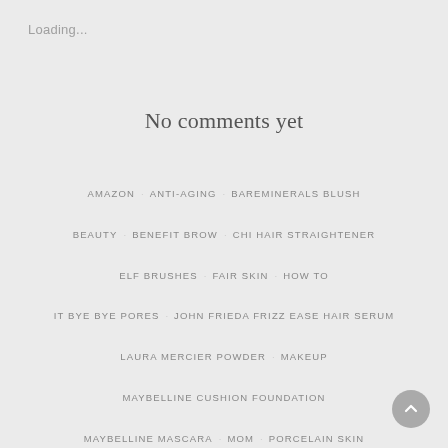Loading...
No comments yet
AMAZON
ANTI-AGING
BAREMINERALS BLUSH
BEAUTY
BENEFIT BROW
CHI HAIR STRAIGHTENER
ELF BRUSHES
FAIR SKIN
HOW TO
IT BYE BYE PORES
JOHN FRIEDA FRIZZ EASE HAIR SERUM
LAURA MERCIER POWDER
MAKEUP
MAYBELLINE CUSHION FOUNDATION
MAYBELLINE MASCARA
MOM
PORCELAIN SKIN
PRODUCT REVIEW
REAL TECHNIQUES BRUSHES
REAL TECHNIQUES SPONGE
REVLON LIPGLOSS
SMASHBOX FULL EXPOSURE EYE SHADOW PALETTE